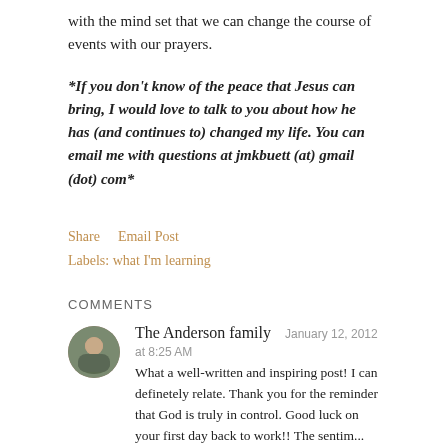with the mind set that we can change the course of events with our prayers.
*If you don't know of the peace that Jesus can bring, I would love to talk to you about how he has (and continues to) changed my life. You can email me with questions at jmkbuett (at) gmail (dot) com*
Share    Email Post
Labels: what I'm learning
COMMENTS
The Anderson family   January 12, 2012 at 8:25 AM
What a well-written and inspiring post! I can definetely relate. Thank you for the reminder that God is truly in control. Good luck on your first day back to work!! The sentim...